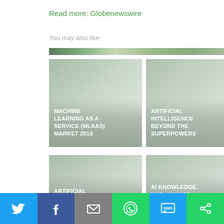Read more: Globenewswire
You may also like:
[Figure (photo): Narrow image strip showing a green/nature scene]
[Figure (photo): Card image: MACHINE LEARNING AS A SERVICE (MLAAS) MARKET 2018]
[Figure (photo): Card image: ARTIFICIAL INTELLIGENCE BEYOND THE SUPERPOWERS]
[Figure (photo): Card image: ARTIFICIAL INTELLIGENCE]
[Figure (photo): Card image: AI KNOWLEDGE MAP: HOW TO CLASSIFY AI]
Twitter | Facebook | Email | WhatsApp | SMS | Share social buttons